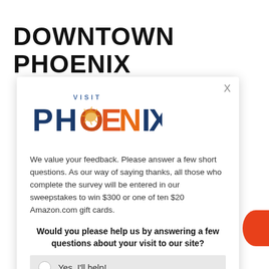DOWNTOWN PHOENIX
[Figure (screenshot): Visit Phoenix logo with 'VISIT' in blue spaced letters above 'PHOENIX' in large gradient orange-to-navy letters]
We value your feedback. Please answer a few short questions. As our way of saying thanks, all those who complete the survey will be entered in our sweepstakes to win $300 or one of ten $20 Amazon.com gift cards.
Would you please help us by answering a few questions about your visit to our site?
Yes, I'll help!